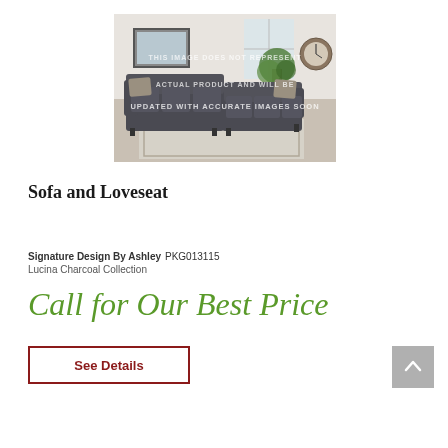[Figure (photo): A dark charcoal sectional sofa with decorative pillows displayed in a living room setting. Image has a watermark overlay reading 'THIS IMAGE DOES NOT REPRESENT ACTUAL PRODUCT AND WILL BE UPDATED WITH ACCURATE IMAGES SOON']
Sofa and Loveseat
Signature Design By Ashley PKG013115
Lucina Charcoal Collection
Call for Our Best Price
See Details